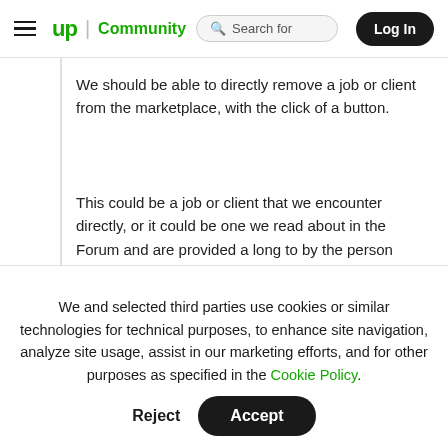up Community | Search for | Log In
We should be able to directly remove a job or client from the marketplace, with the click of a button.
This could be a job or client that we encounter directly, or it could be one we read about in the Forum and are provided a long to by the person reporting the incident.
The job or client would be blocked. Jobs...
We and selected third parties use cookies or similar technologies for technical purposes, to enhance site navigation, analyze site usage, assist in our marketing efforts, and for other purposes as specified in the Cookie Policy.
Accept
Reject